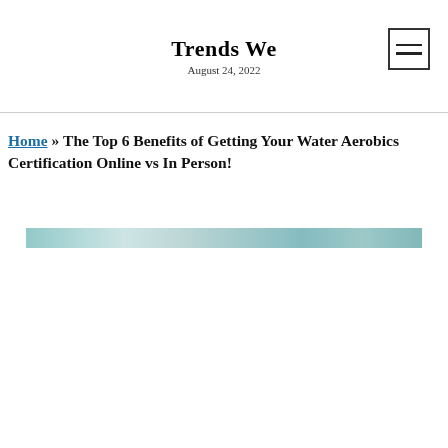Trends We
August 24, 2022
Home » The Top 6 Benefits of Getting Your Water Aerobics Certification Online vs In Person!
[Figure (photo): A narrow horizontal strip showing a water/pool surface image, likely a header image for the article about water aerobics certification.]